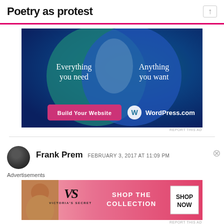Poetry as protest
[Figure (illustration): WordPress.com advertisement showing two overlapping circles (Venn diagram) on a dark teal/blue gradient background. Left circle text: 'Everything you need'. Right circle text: 'Anything you want'. Pink 'Build Your Website' button at bottom left. WordPress.com logo at bottom right.]
REPORT THIS AD
Frank Prem   FEBRUARY 3, 2017 AT 11:09 PM
Advertisements
[Figure (illustration): Victoria's Secret advertisement with pink background, model on left, large VS logo in center-left, text 'SHOP THE COLLECTION' in center, white 'SHOP NOW' button on right.]
REPORT THIS AD